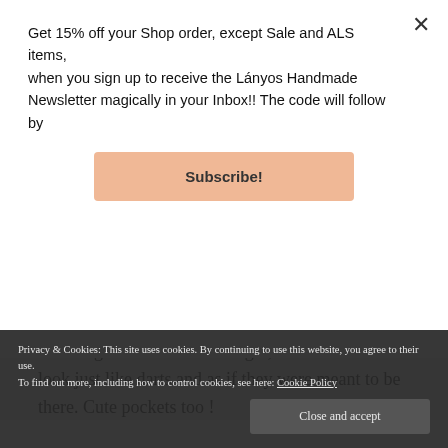Get 15% off your Shop order, except Sale and ALS items, when you sign up to receive the Lányos Handmade Newsletter magically in your Inbox!! The code will follow by
Subscribe!
What a great result. You're right, those side seams look just like darts and as if they were meant to be there. Cute pockets too !
Privacy & Cookies: This site uses cookies. By continuing to use this website, you agree to their use. To find out more, including how to control cookies, see here: Cookie Policy
Close and accept